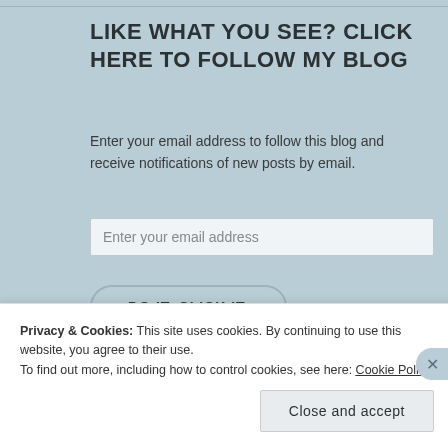LIKE WHAT YOU SEE? CLICK HERE TO FOLLOW MY BLOG
Enter your email address to follow this blog and receive notifications of new posts by email.
Enter your email address
DO IT. CLICK IT.
Join 2,770 other followers
Privacy & Cookies: This site uses cookies. By continuing to use this website, you agree to their use.
To find out more, including how to control cookies, see here: Cookie Policy
Close and accept